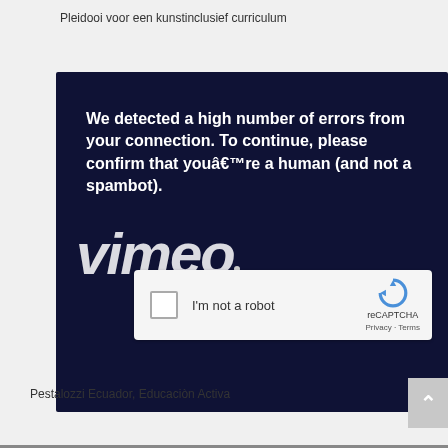Pleidooi voor een kunstinclusief curriculum
[Figure (screenshot): Screenshot of a Vimeo page showing a reCAPTCHA challenge with dark navy background. Text reads: 'We detected a high number of errors from your connection. To continue, please confirm that youâ€™re a human (and not a spambot).' Below is the Vimeo logo in white and a reCAPTCHA checkbox widget with 'I'm not a robot' label.]
Pestalozzi Ecuador, Educaciòn Activa